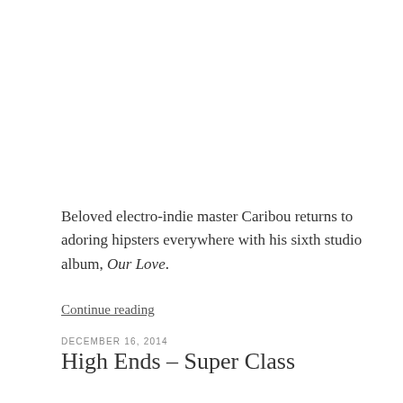Beloved electro-indie master Caribou returns to adoring hipsters everywhere with his sixth studio album, Our Love.
Continue reading
DECEMBER 16, 2014
High Ends – Super Class